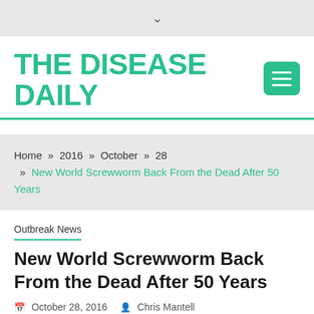THE DISEASE DAILY
Home » 2016 » October » 28 » New World Screwworm Back From the Dead After 50 Years
Outbreak News
New World Screwworm Back From the Dead After 50 Years
October 28, 2016   Chris Mantell